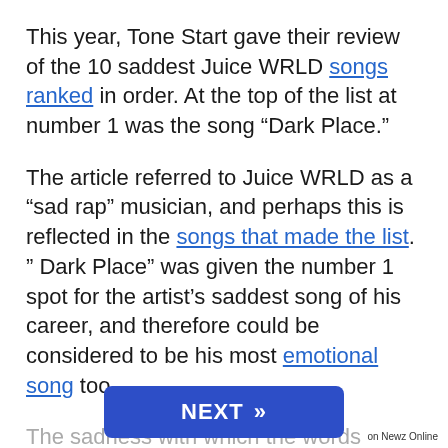This year, Tone Start gave their review of the 10 saddest Juice WRLD songs ranked in order. At the top of the list at number 1 was the song “Dark Place.”
The article referred to Juice WRLD as a “sad rap” musician, and perhaps this is reflected in the songs that made the list. ” Dark Place” was given the number 1 spot for the artist’s saddest song of his career, and therefore could be considered to be his most emotional song too.
The sadness with which the words deliver shows how m[...]al person [...]